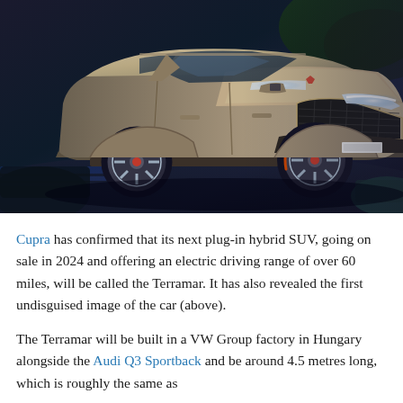[Figure (photo): Front three-quarter view of a Cupra Terramar SUV in metallic gold/bronze colour, photographed against a dark dramatic background with motion blur suggesting speed. The SUV has large alloy wheels, distinctive angular headlights illuminated, and a bold grille with Cupra branding.]
Cupra has confirmed that its next plug-in hybrid SUV, going on sale in 2024 and offering an electric driving range of over 60 miles, will be called the Terramar. It has also revealed the first undisguised image of the car (above).
The Terramar will be built in a VW Group factory in Hungary alongside the Audi Q3 Sportback and be around 4.5 metres long, which is roughly the same as